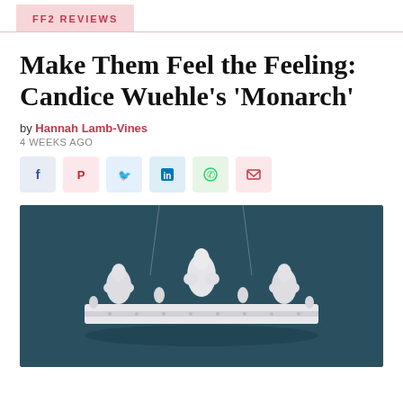FF2 REVIEWS
Make Them Feel the Feeling: Candice Wuehle's 'Monarch'
by Hannah Lamb-Vines
4 WEEKS AGO
[Figure (other): Social sharing icons: Facebook, Pinterest, Twitter, LinkedIn, WhatsApp, Email]
[Figure (photo): A white ornate crown with fleur-de-lis decorations suspended by strings against a dark teal background]